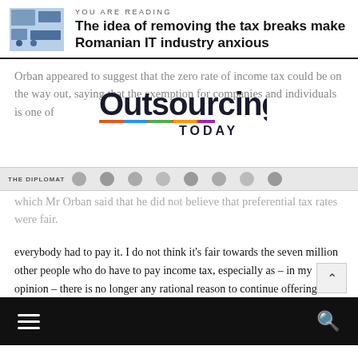YOU ARE READING
The idea of removing the tax breaks make Romanian IT industry anxious
Orban appeared to suggest that the zero rate of income tax could be on the way out, saying that the exemption for companies and individuals is one of
[Figure (logo): Outsourcing Today logo with colorful underline bar]
[Figure (photo): The Diplomat publication strip with profile photos]
which Mr Orban said that he did not believe that preferential tax rates were fair.
"We have a flat income tax rate of 10 percent," he said. "That's one everybody had to pay it. I do not think it's fair towards the seven million other people who do have to pay income tax, especially as – in my opinion – there is no longer any rational reason to continue offering these tax breaks."
Romania's IT industry currently employs over 100,000 people, and the